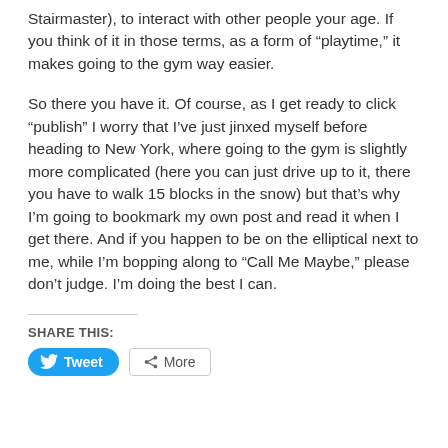Stairmaster), to interact with other people your age. If you think of it in those terms, as a form of “playtime,” it makes going to the gym way easier.
So there you have it. Of course, as I get ready to click “publish” I worry that I’ve just jinxed myself before heading to New York, where going to the gym is slightly more complicated (here you can just drive up to it, there you have to walk 15 blocks in the snow) but that’s why I’m going to bookmark my own post and read it when I get there. And if you happen to be on the elliptical next to me, while I’m bopping along to “Call Me Maybe,” please don’t judge. I’m doing the best I can.
SHARE THIS:
[Figure (other): Tweet and More share buttons]